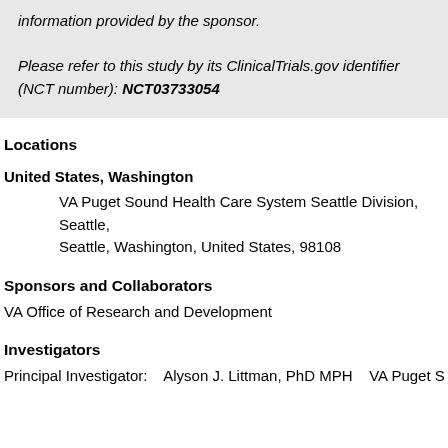information provided by the sponsor.

Please refer to this study by its ClinicalTrials.gov identifier (NCT number): NCT03733054
Locations
United States, Washington
VA Puget Sound Health Care System Seattle Division, Seattle, Seattle, Washington, United States, 98108
Sponsors and Collaborators
VA Office of Research and Development
Investigators
Principal Investigator:    Alyson J. Littman, PhD MPH    VA Puget So